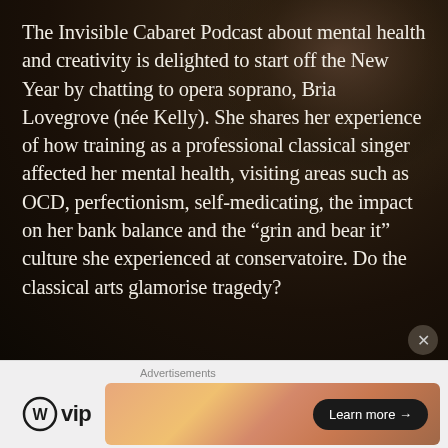[Figure (photo): Dark atmospheric background with a person (partial face visible at top right) against a very dark, almost black-brown background]
The Invisible Cabaret Podcast about mental health and creativity is delighted to start off the New Year by chatting to opera soprano, Bria Lovegrove (née Kelly). She shares her experience of how training as a professional classical singer affected her mental health, visiting areas such as OCD, perfectionism, self-medicating, the impact on her bank balance and the “grin and bear it” culture she experienced at conservatoire. Do the classical arts glamorise tragedy?
Advertisements
[Figure (logo): WordPress VIP logo: WordPress circle icon followed by 'vip' text in bold]
[Figure (other): Advertisement banner with orange/peach gradient background and a dark 'Learn more →' button]